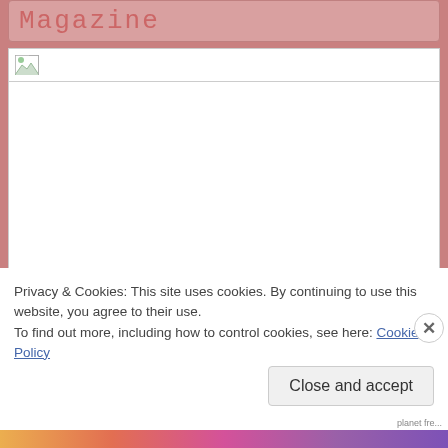Magazine
[Figure (photo): Broken image placeholder — white rectangle with a small broken image icon in the top-left corner and a thin horizontal rule beneath it]
Privacy & Cookies: This site uses cookies. By continuing to use this website, you agree to their use.
To find out more, including how to control cookies, see here: Cookie Policy
Close and accept